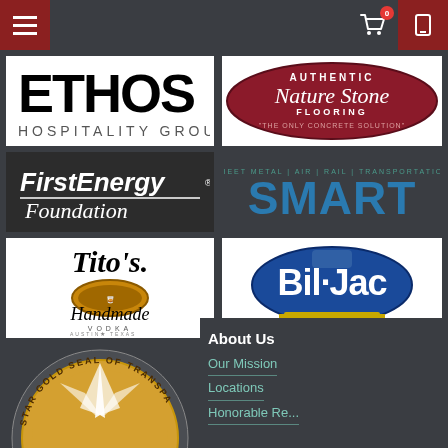[Figure (logo): Navigation bar with hamburger menu, cart icon with badge '0', and phone icon]
[Figure (logo): ETHOS Hospitality Group logo - black text on white background]
[Figure (logo): Authentic Nature Stone Flooring logo - The Only Concrete Solution]
[Figure (logo): FirstEnergy Foundation logo - dark background]
[Figure (logo): SMART Sheet Metal Air Rail Transportation logo]
[Figure (logo): Tito's Handmade Vodka Austin Texas logo]
[Figure (logo): Bil-Jac dog food logo]
[Figure (logo): Star Gold Seal of Transparency circular seal]
About Us
Our Mission
Locations
Honorable Re...